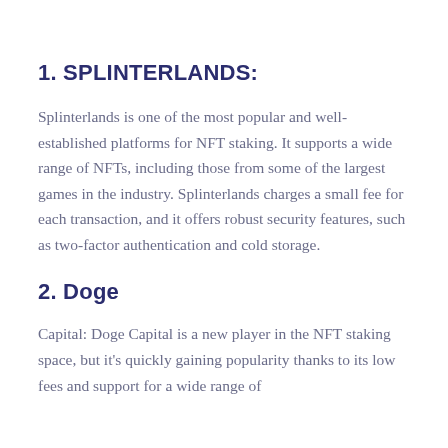1. SPLINTERLANDS:
Splinterlands is one of the most popular and well-established platforms for NFT staking. It supports a wide range of NFTs, including those from some of the largest games in the industry. Splinterlands charges a small fee for each transaction, and it offers robust security features, such as two-factor authentication and cold storage.
2. Doge
Capital: Doge Capital is a new player in the NFT staking space, but it's quickly gaining popularity thanks to its low fees and support for a wide range of